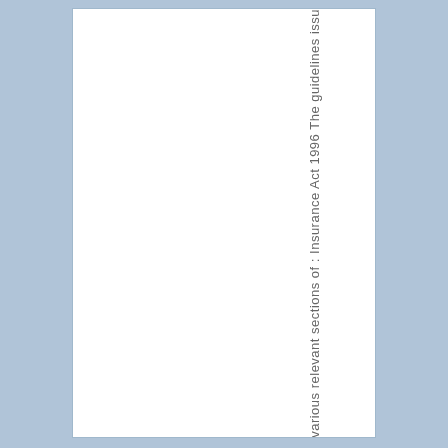ent with immediate effect in order not to breach the various relevant sections of : Insurance Act 1996 The guidelines issu